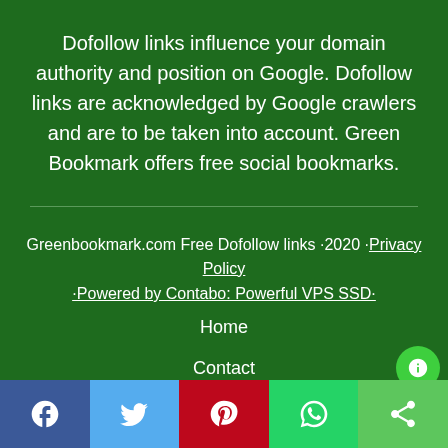Dofollow links influence your domain authority and position on Google. Dofollow links are acknowledged by Google crawlers and are to be taken into account. Green Bookmark offers free social bookmarks.
Greenbookmark.com Free Dofollow links ·2020 ·Privacy Policy · Powered by Contabo: Powerful VPS SSD · Home Contact
[Figure (infographic): Social sharing bar at bottom with Facebook, Twitter, Pinterest, WhatsApp, and Share icons]